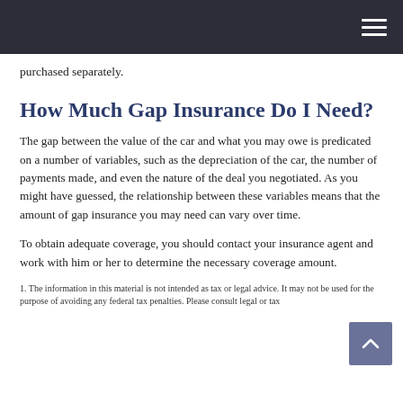purchased separately.
How Much Gap Insurance Do I Need?
The gap between the value of the car and what you may owe is predicated on a number of variables, such as the depreciation of the car, the number of payments made, and even the nature of the deal you negotiated. As you might have guessed, the relationship between these variables means that the amount of gap insurance you may need can vary over time.
To obtain adequate coverage, you should contact your insurance agent and work with him or her to determine the necessary coverage amount.
1. The information in this material is not intended as tax or legal advice. It may not be used for the purpose of avoiding any federal tax penalties. Please consult legal or tax